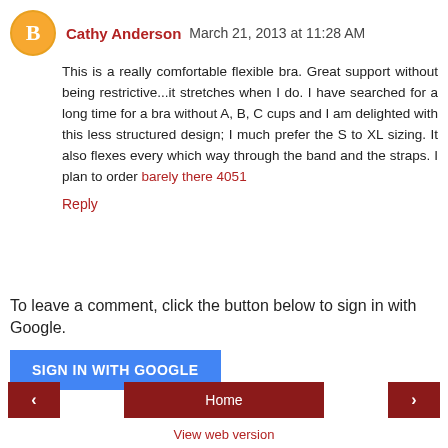Cathy Anderson  March 21, 2013 at 11:28 AM
This is a really comfortable flexible bra. Great support without being restrictive...it stretches when I do. I have searched for a long time for a bra without A, B, C cups and I am delighted with this less structured design; I much prefer the S to XL sizing. It also flexes every which way through the band and the straps. I plan to order barely there 4051
Reply
To leave a comment, click the button below to sign in with Google.
SIGN IN WITH GOOGLE
Home
View web version